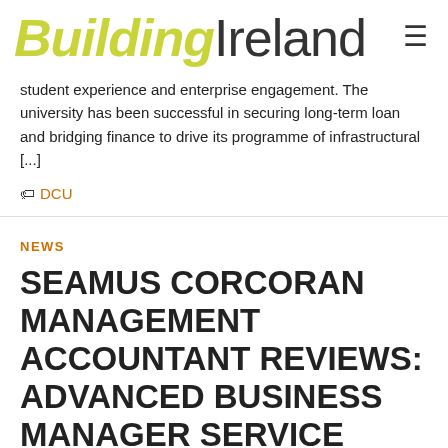Building Ireland
student experience and enterprise engagement. The university has been successful in securing long-term loan and bridging finance to drive its programme of infrastructural [...]
🏷 DCU
NEWS
SEAMUS CORCORAN MANAGEMENT ACCOUNTANT REVIEWS: ADVANCED BUSINESS MANAGER SERVICE SOFTWARE